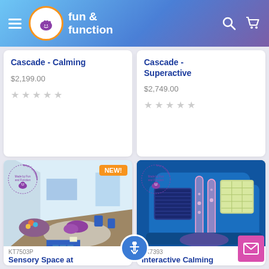fun & function
Cascade - Calming
$2,199.00
Cascade - Superactive
$2,749.00
[Figure (photo): Sensory room interior with ball pit, cushions, and blue floor mat, with NEW! badge]
KT7503P
Sensory Space at
[Figure (photo): Interactive calming snoezelen unit with pink bubble tube and panel displays]
SK7393
Interactive Calming